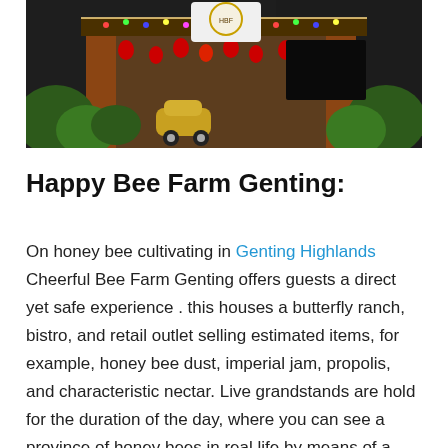[Figure (photo): Photograph of the Happy Bee Farm Genting storefront, decorated with red lanterns, colorful string lights, Christmas decorations, a Volkswagen Beetle, and lush greenery. A circular logo sign is visible on the upper portion of the facade.]
Happy Bee Farm Genting:
On honey bee cultivating in Genting Highlands Cheerful Bee Farm Genting offers guests a direct yet safe experience . this houses a butterfly ranch, bistro, and retail outlet selling estimated items, for example, honey bee dust, imperial jam, propolis, and characteristic nectar. Live grandstands are hold for the duration of the day, where you can see a province of honey bees in real life by means of a